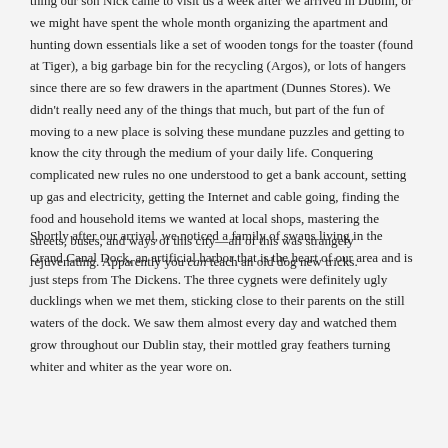thing our son Nick came to visit us a week after we arrived in Dublin, or we might have spent the whole month organizing the apartment and hunting down essentials like a set of wooden tongs for the toaster (found at Tiger), a big garbage bin for the recycling (Argos), or lots of hangers since there are so few drawers in the apartment (Dunnes Stores). We didn't really need any of the things that much, but part of the fun of moving to a new place is solving these mundane puzzles and getting to know the city through the medium of your daily life. Conquering complicated new rules no one understood to get a bank account, setting up gas and electricity, getting the Internet and cable going, finding the food and household items we wanted at local shops, mastering the streets, buses, and ways of this city—all of this was strangely rejuvenating. Apparently you can teach an old dog new tricks.
Shortly after our arrival, we noticed a family of swans living in the Grand Canal Dock, an artificial harbor that is the heart of our area and is just steps from The Dickens. The three cygnets were definitely ugly ducklings when we met them, sticking close to their parents on the still waters of the dock. We saw them almost every day and watched them grow throughout our Dublin stay, their mottled gray feathers turning whiter and whiter as the year wore on.